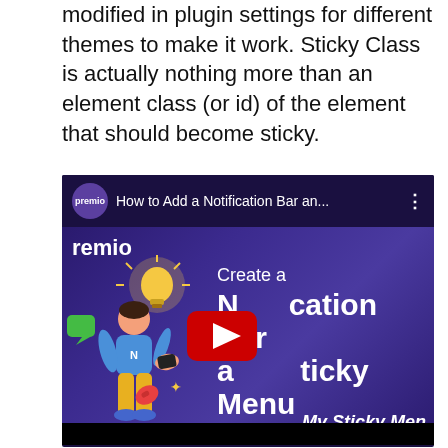modified in plugin settings for different themes to make it work. Sticky Class is actually nothing more than an element class (or id) of the element that should become sticky.
[Figure (screenshot): YouTube video thumbnail showing 'How to Add a Notification Bar an...' with Premio branding. The video shows a 3D character holding a lightbulb, text reading 'Create a Notification Bar and Sticky Menu for Your WordPress Website', a red YouTube play button in the center, and 'My Sticky Menu' text in the bottom right corner on a dark purple background.]